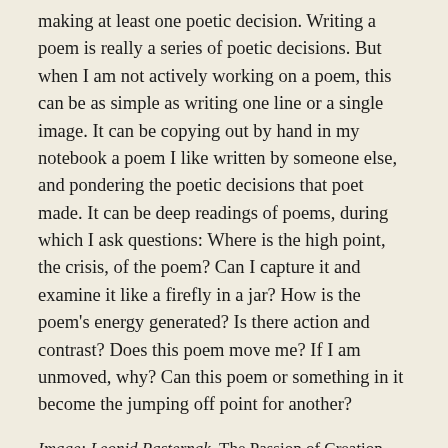making at least one poetic decision. Writing a poem is really a series of poetic decisions. But when I am not actively working on a poem, this can be as simple as writing one line or a single image. It can be copying out by hand in my notebook a poem I like written by someone else, and pondering the poetic decisions that poet made. It can be deep readings of poems, during which I ask questions: Where is the high point, the crisis, of the poem? Can I capture it and examine it like a firefly in a jar? How is the poem's energy generated? Is there action and contrast? Does this poem move me? If I am unmoved, why? Can this poem or something in it become the jumping off point for another?
Image: Leonid Pasternak, The Passion of Creation, 19th c.